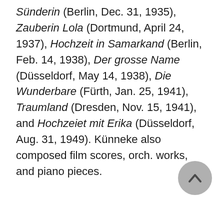Sünderin (Berlin, Dec. 31, 1935), Zauberin Lola (Dortmund, April 24, 1937), Hochzeit in Samarkand (Berlin, Feb. 14, 1938), Der grosse Name (Düsseldorf, May 14, 1938), Die Wunderbare (Fürth, Jan. 25, 1941), Traumland (Dresden, Nov. 15, 1941), and Hochzeiet mit Erika (Düsseldorf, Aug. 31, 1949). Künneke also composed film scores, orch. works, and piano pieces.